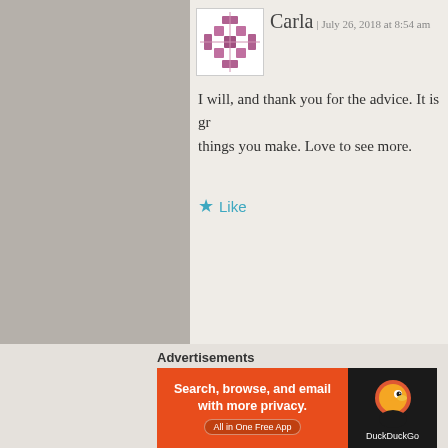Carla | July 26, 2018 at 8:54 am
I will, and thank you for the advice. It is gr things you make. Love to see more.
★ Like
Jes | September 13, 2017 at 2:07 am
Thank you for the info and insight! I am so frustrated ! felting ! And I'm trying
To make a miniature pomeranian for my dollhouse
I see so many amazing ones on Pinterest
But oh boy … mine looks nothing like those !! I wi
Advertisements
[Figure (screenshot): DuckDuckGo advertisement banner: orange and dark background, text 'Search, browse, and email with more privacy. All in One Free App' with DuckDuckGo duck logo]